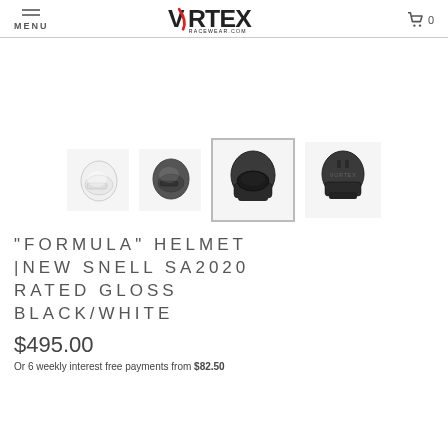MENU | VORTEX RACEWEAR.COM | 0
[Figure (photo): Four thumbnail images of racing helmets: white helmet (side view), dark grey helmet (side view), dark grey/black helmet (front facing, selected/highlighted), dark grey/black helmet (rear view)]
"FORMULA" HELMET |NEW SNELL SA2020 RATED GLOSS BLACK/WHITE
$495.00
Or 6 weekly interest free payments from $82.50